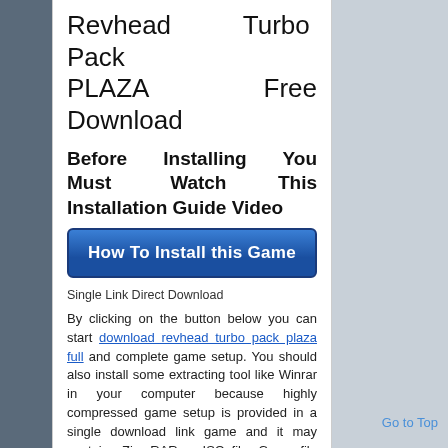Revhead Turbo Pack PLAZA Free Download
Before Installing You Must Watch This Installation Guide Video
[Figure (other): Blue button with text 'How To Install this Game']
Single Link Direct Download
By clicking on the button below you can start download revhead turbo pack plaza full and complete game setup. You should also install some extracting tool like Winrar in your computer because highly compressed game setup is provided in a single download link game and it may contains Zip, RAR or ISO file. Game file password is ofg